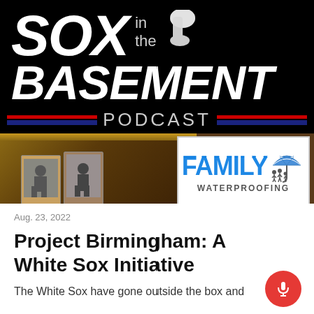[Figure (logo): Sox in the Basement Podcast logo — black background with large white bold italic SOX text, 'in the' in gray, sock icon, BASEMENT in large white bold italic text, red and navy blue stripe bars with PODCAST text in gray, followed by a photo section showing baseball cards in a wooden shelf and a Family Waterproofing sponsor logo with blue text and umbrella icon]
Aug. 23, 2022
Project Birmingham: A White Sox Initiative
The White Sox have gone outside the box and